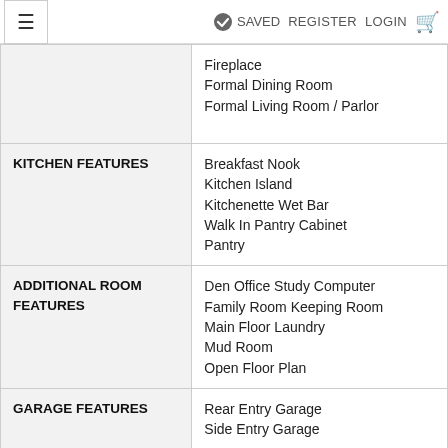≡   SAVED REGISTER LOGIN 🛒
| Feature Category | Features |
| --- | --- |
| (continued) | Fireplace
Formal Dining Room
Formal Living Room / Parlor |
| KITCHEN FEATURES | Breakfast Nook
Kitchen Island
Kitchenette Wet Bar
Walk In Pantry Cabinet
Pantry |
| ADDITIONAL ROOM FEATURES | Den Office Study Computer
Family Room Keeping Room
Main Floor Laundry
Mud Room
Open Floor Plan |
| GARAGE FEATURES | Rear Entry Garage
Side Entry Garage |
| OUTDOOR SPACES | Covered Front Porch
Covered Rear Porch |